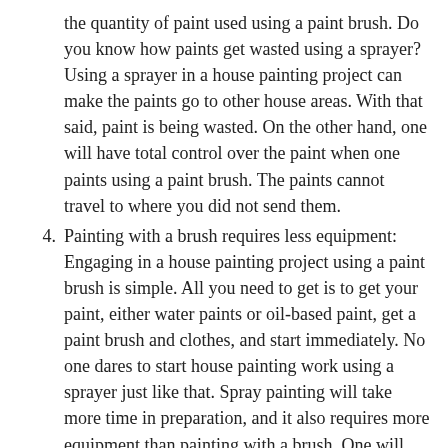the quantity of paint used using a paint brush. Do you know how paints get wasted using a sprayer? Using a sprayer in a house painting project can make the paints go to other house areas. With that said, paint is being wasted. On the other hand, one will have total control over the paint when one paints using a paint brush. The paints cannot travel to where you did not send them.
Painting with a brush requires less equipment: Engaging in a house painting project using a paint brush is simple. All you need to get is to get your paint, either water paints or oil-based paint, get a paint brush and clothes, and start immediately. No one dares to start house painting work using a sprayer just like that. Spray painting will take more time in preparation, and it also requires more equipment than painting with a brush. One will need to rent a sprayer and other materials like a gas mask and masking tape before one can start work. Also, you need to spend some time with a trained painter that has been using a sprayer before